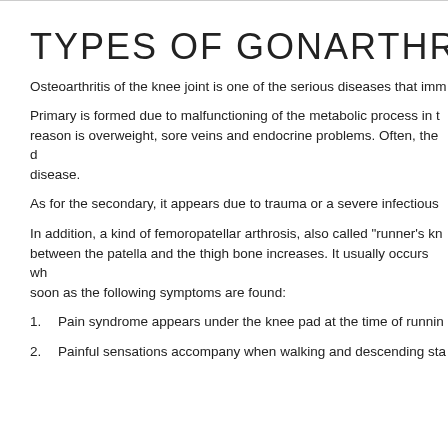TYPES OF GONARTHROSIS
Osteoarthritis of the knee joint is one of the serious diseases that imm
Primary is formed due to malfunctioning of the metabolic process in the reason is overweight, sore veins and endocrine problems. Often, the d disease.
As for the secondary, it appears due to trauma or a severe infectious
In addition, a kind of femoropatellar arthrosis, also called "runner's kn between the patella and the thigh bone increases. It usually occurs wh soon as the following symptoms are found:
Pain syndrome appears under the knee pad at the time of runnin
Painful sensations accompany when walking and descending sta